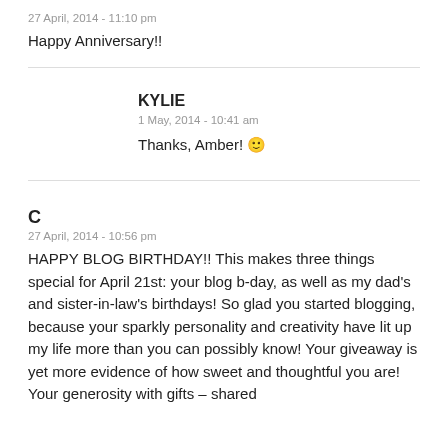27 April, 2014 - 11:10 pm
Happy Anniversary!!
KYLIE
1 May, 2014 - 10:41 am
Thanks, Amber! 🙂
C
27 April, 2014 - 10:56 pm
HAPPY BLOG BIRTHDAY!! This makes three things special for April 21st: your blog b-day, as well as my dad's and sister-in-law's birthdays! So glad you started blogging, because your sparkly personality and creativity have lit up my life more than you can possibly know! Your giveaway is yet more evidence of how sweet and thoughtful you are! Your generosity with gifts – shared